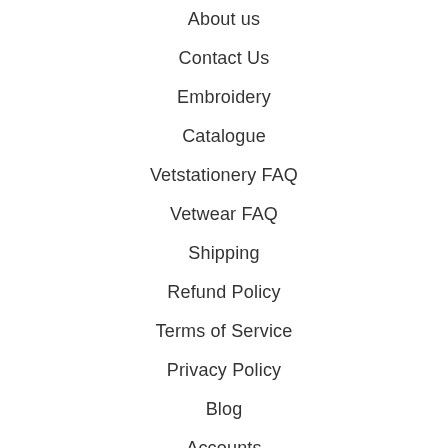About us
Contact Us
Embroidery
Catalogue
Vetstationery FAQ
Vetwear FAQ
Shipping
Refund Policy
Terms of Service
Privacy Policy
Blog
Accounts
CONTACT
SIGN UP!